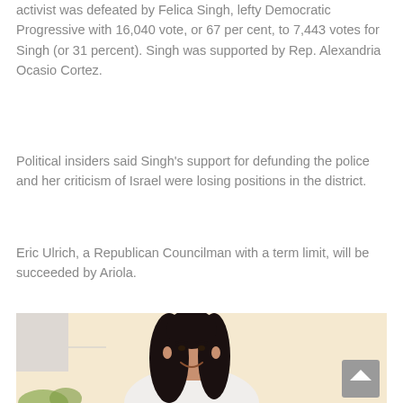activist was defeated by Felica Singh, lefty Democratic Progressive with 16,040 vote, or 67 per cent, to 7,443 votes for Singh (or 31 percent). Singh was supported by Rep. Alexandria Ocasio Cortez.
Political insiders said Singh's support for defunding the police and her criticism of Israel were losing positions in the district.
Eric Ulrich, a Republican Councilman with a term limit, will be succeeded by Ariola.
[Figure (photo): A woman with dark shoulder-length hair wearing a white top, smiling, standing in front of a light-colored wall with a scroll-to-top button overlay in the lower right corner.]